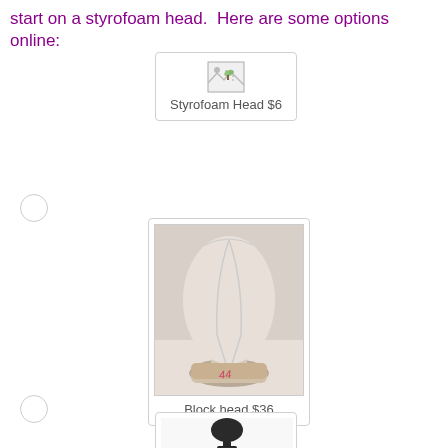start on a styrofoam head.  Here are some options online:
[Figure (screenshot): Product card showing a broken image icon with label 'Styrofoam Head $6']
[Figure (photo): Block head mannequin head, white fabric-covered, with pink writing at base. Label: 'Block head $36']
[Figure (photo): Partial view of another mannequin head product at the bottom of the page]